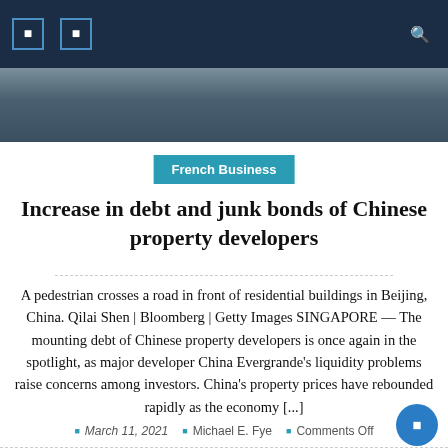[Figure (photo): Street scene with a pedestrian crossing a road in front of residential buildings in Beijing, China. Navigation bar with dark blue background overlaid at top.]
French Business
Increase in debt and junk bonds of Chinese property developers
A pedestrian crosses a road in front of residential buildings in Beijing, China. Qilai Shen | Bloomberg | Getty Images SINGAPORE — The mounting debt of Chinese property developers is once again in the spotlight, as major developer China Evergrande's liquidity problems raise concerns among investors. China's property prices have rebounded rapidly as the economy [...]
March 11, 2021   Michael E. Fye   Comments Off